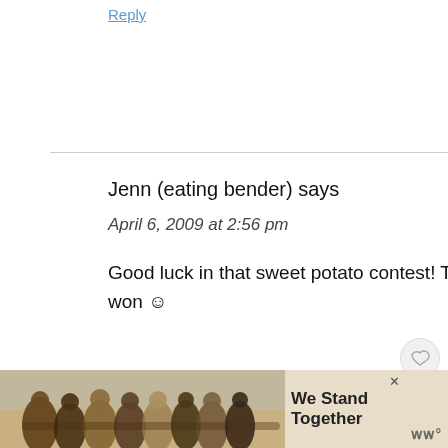Reply
Jenn (eating bender) says
April 6, 2009 at 2:56 pm
Good luck in that sweet potato contest! That would definitely be sweet...potato if you won ☺
I just read your latest post on Gather and thought it was fabulous! I posted a [image] on there, but thought I'd also post it on
[Figure (infographic): We Stand Together advertisement banner with group of people photo]
[Figure (screenshot): What's Next - Comedy Club thumbnail]